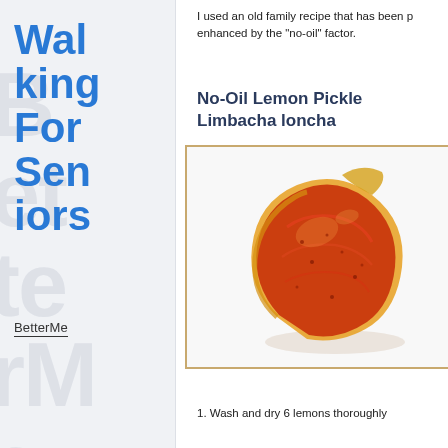Walking For Seniors
BetterMe
I used an old family recipe that has been p... enhanced by the "no-oil" factor.
No-Oil Lemon Pickle Limbacha loncha
[Figure (photo): Close-up photo of a lemon pickle piece coated in red/orange spice paste on a white background]
1. Wash and dry 6 lemons thoroughly